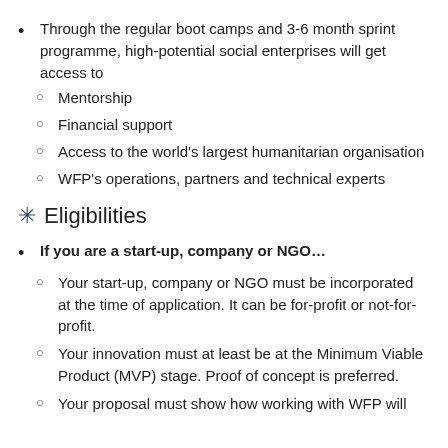Through the regular boot camps and 3-6 month sprint programme, high-potential social enterprises will get access to
Mentorship
Financial support
Access to the world’s largest humanitarian organisation
WFP’s operations, partners and technical experts
Eligibilities
If you are a start-up, company or NGO…
Your start-up, company or NGO must be incorporated at the time of application. It can be for-profit or not-for-profit.
Your innovation must at least be at the Minimum Viable Product (MVP) stage. Proof of concept is preferred.
Your proposal must show how working with WFP will